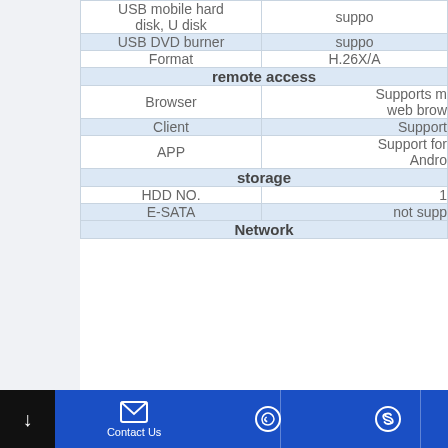| Feature | Value |
| --- | --- |
| USB mobile hard disk, U disk | suppo |
| USB DVD burner | suppo |
| Format | H.26X/A |
| remote access |  |
| Browser | Supports m web brow |
| Client | Support |
| APP | Support for Andro |
| storage |  |
| HDD NO. | 1 |
| E-SATA | not supp |
| Network |  |
Contact Us